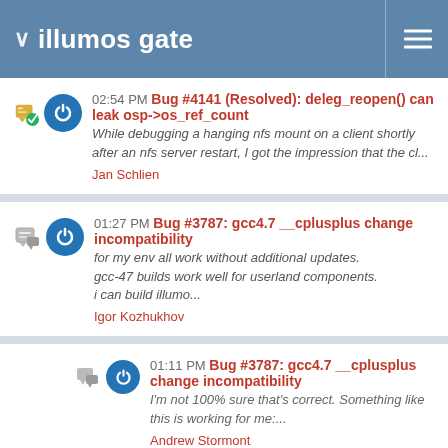illumos gate
02:54 PM Bug #4141 (Resolved): deleg_reopen() can leak osp->os_ref_count
While debugging a hanging nfs mount on a client shortly after an nfs server restart, I got the impression that the cl...
Jan Schlien
01:27 PM Bug #3787: gcc4.7 __cplusplus change incompatibility
for my env all work without additional updates.
gcc-47 builds work well for userland components.
i can build illumo...
Igor Kozhukhov
01:11 PM Bug #3787: gcc4.7 __cplusplus change incompatibility
I'm not 100% sure that's correct. Something like this is working for me:...
Andrew Stormont